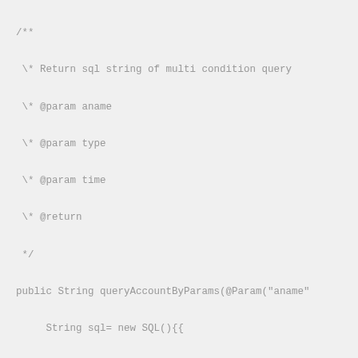/**
 \ * Return sql string of multi condition query
 \ * @param aname
 \ * @param type
 \ * @param time
 \ * @return
 */
public String queryAccountByParams(@Param("aname"
     String sql= new SQL(){{
          SELECT("id,aname,type,remark,create_time
          FROM("account");
          WHERE(" 1=1 ");
          if(!StringUtils.isNullOrEmpty(aname)){
               AND();